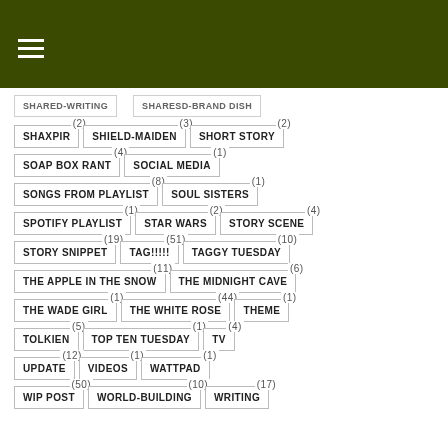≡ (navigation menu icon)
SHAXPIR (2)
SHIELD-MAIDEN (3)
SHORT STORY (2)
SOAP BOX RANT (4)
SOCIAL MEDIA (1)
SONGS FROM PLAYLIST (8)
SOUL SISTERS (1)
SPOTIFY PLAYLIST (1)
STAR WARS (2)
STORY SCENE (4)
STORY SNIPPET (19)
TAG!!!!! (51)
TAGGY TUESDAY (10)
THE APPLE IN THE SNOW (11)
THE MIDNIGHT CAVE (6)
THE WADE GIRL (1)
THE WHITE ROSE (44)
THEME (1)
TOLKIEN (5)
TOP TEN TUESDAY (1)
TV (4)
UPDATE (12)
VIDEOS (1)
WATTPAD (1)
WIP POST (50)
WORLD-BUILDING (10)
WRITING (17)